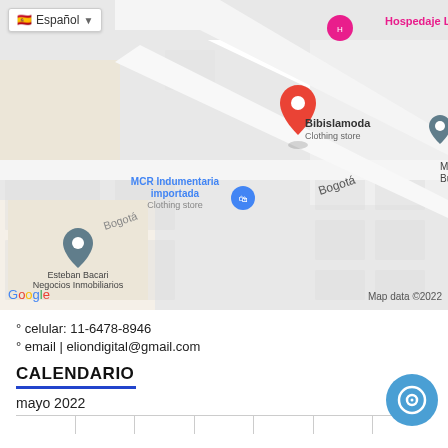[Figure (map): Google Maps screenshot showing a street map of Buenos Aires area with markers for Bibislamoda (clothing store, red pin), MCR Indumentaria importada (clothing store, blue pin), Esteban Bacari Negocios Inmobiliarios (gray pin), Hospedaje La Rana (pink pin), Hotel Santa Cruz (pink pin), Shams Beauty supply store (blue pin), Marketing Branding Buenos Aires Argentina. Streets Bogotá and Terrada visible. Language selector showing Español flag. Google logo and Map data ©2022 watermark.]
° celular: 11-6478-8946
° email | eliondigital@gmail.com
CALENDARIO
mayo 2022